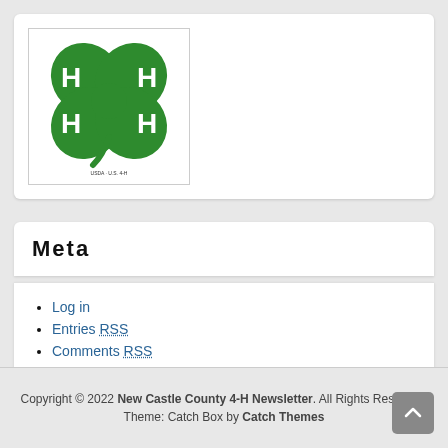[Figure (logo): 4-H four-leaf clover logo in green with white H letters on each leaf, official USDA 4-H emblem]
Meta
Log in
Entries RSS
Comments RSS
WordPress at UD
Copyright © 2022 New Castle County 4-H Newsletter. All Rights Reserved. Theme: Catch Box by Catch Themes